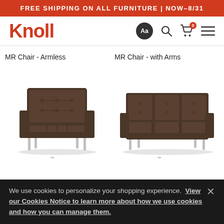FREE SHIPPING ON ALL FURNITURE | NOW–8/31
[Figure (logo): Knoll logo in red with navigation icons (Aa font selector, search, cart with 0, hamburger menu)]
MR Chair - Armless
MR Chair - with Arms
[Figure (photo): Brown leather/fabric tufted armless chair with chrome legs (Knoll MR Chair Armless)]
[Figure (photo): Brown leather/fabric tufted three-seat sofa with chrome legs (Knoll MR Chair with Arms)]
We use cookies to personalize your shopping experience. View our Cookies Notice to learn more about how we use cookies and how you can manage them.